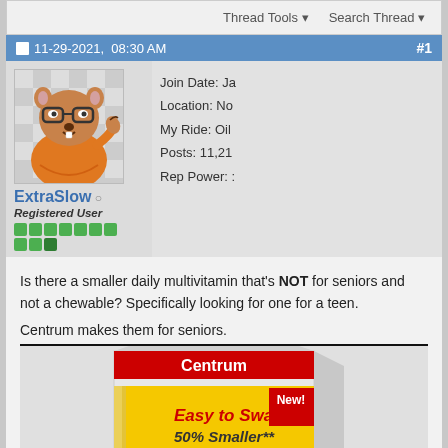Thread Tools  Search Thread
11-29-2021,  08:30 AM   #1
[Figure (illustration): Cartoon avatar of a groundhog or beaver wearing glasses and orange clothing, giving a thumbs up, on a checkered background]
Join Date: Ja
Location: No
My Ride: Oil
Posts: 11,21
Rep Power: :
ExtraSlow ○
Registered User
Is there a smaller daily multivitamin that's NOT for seniors and not a chewable? Specifically looking for one for a teen.
Centrum makes them for seniors.
[Figure (photo): Centrum vitamin box with yellow band showing 'Easy to Swallow! 50% Smaller**' and 'New!' red badge, with rainbow striped bottom]